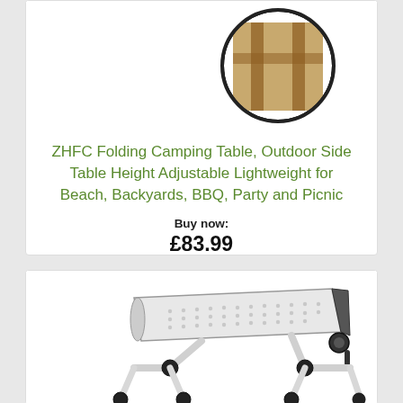[Figure (photo): Product image of ZHFC Folding Camping Table with adjustable legs, shown with a circular inset detail of carrying bag]
ZHFC Folding Camping Table, Outdoor Side Table Height Adjustable Lightweight for Beach, Backyards, BBQ, Party and Picnic
Buy now:
£83.99
[Figure (photo): Product image of a white adjustable laptop/desk stand with perforated top surface and folding legs with black joints]